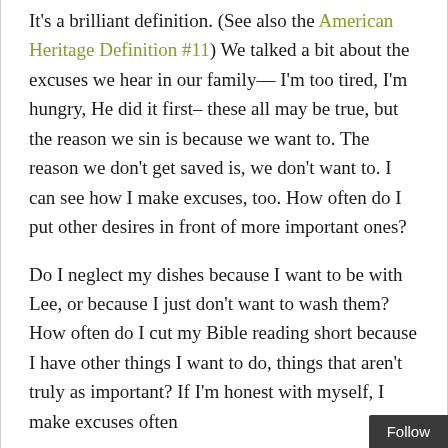It's a brilliant definition. (See also the American Heritage Definition #11) We talked a bit about the excuses we hear in our family— I'm too tired, I'm hungry, He did it first– these all may be true, but the reason we sin is because we want to. The reason we don't get saved is, we don't want to. I can see how I make excuses, too. How often do I put other desires in front of more important ones?
Do I neglect my dishes because I want to be with Lee, or because I just don't want to wash them? How often do I cut my Bible reading short because I have other things I want to do, things that aren't truly as important? If I'm honest with myself, I make excuses often